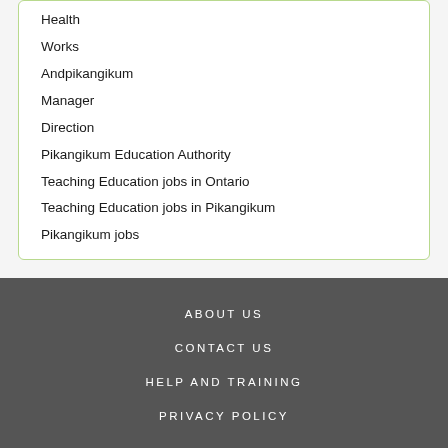Health
Works
Andpikangikum
Manager
Direction
Pikangikum Education Authority
Teaching Education jobs in Ontario
Teaching Education jobs in Pikangikum
Pikangikum jobs
ABOUT US
CONTACT US
HELP AND TRAINING
PRIVACY POLICY